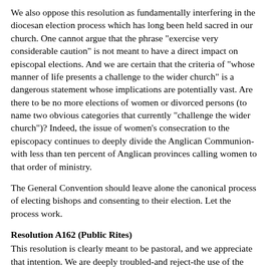We also oppose this resolution as fundamentally interfering in the diocesan election process which has long been held sacred in our church. One cannot argue that the phrase "exercise very considerable caution" is not meant to have a direct impact on episcopal elections. And we are certain that the criteria of "whose manner of life presents a challenge to the wider church" is a dangerous statement whose implications are potentially vast. Are there to be no more elections of women or divorced persons (to name two obvious categories that currently "challenge the wider church")? Indeed, the issue of women's consecration to the episcopacy continues to deeply divide the Anglican Communion-with less than ten percent of Anglican provinces calling women to that order of ministry.
The General Convention should leave alone the canonical process of electing bishops and consenting to their election. Let the process work.
Resolution A162 (Public Rites)
This resolution is clearly meant to be pastoral, and we appreciate that intention. We are deeply troubled-and reject-the use of the word "private" in this context. Whether the commission intends this effect or not, what lesbian and gay couples are being asked to do here is to return to what has been known as "the closet." The truth is that, theologically and liturgically, there is no such thing as